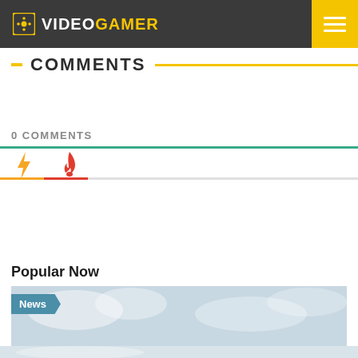VideoGamer
COMMENTS
0 COMMENTS
[Figure (other): Lightning bolt icon (yellow) and flame icon (orange-red) as comment tab selectors]
Popular Now
[Figure (photo): News card with sky/clouds background image and a teal 'News' badge label]